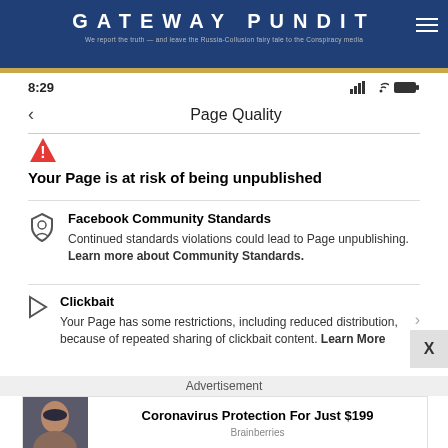GATEWAY PUNDIT — We report the truth — and leave the Russia-Collusion fairy tale to the Conspiracy media
8:29
Page Quality
Your Page is at risk of being unpublished
Facebook Community Standards
Continued standards violations could lead to Page unpublishing. Learn more about Community Standards.
Clickbait
Your Page has some restrictions, including reduced distribution, because of repeated sharing of clickbait content. Learn More
Advertisement
Coronavirus Protection For Just $199
Brainberries